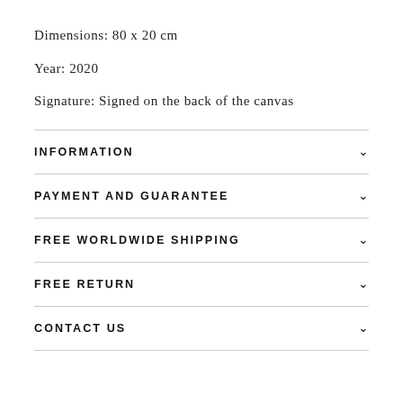Dimensions: 80 x 20 cm
Year: 2020
Signature: Signed on the back of the canvas
INFORMATION
PAYMENT AND GUARANTEE
FREE WORLDWIDE SHIPPING
FREE RETURN
CONTACT US